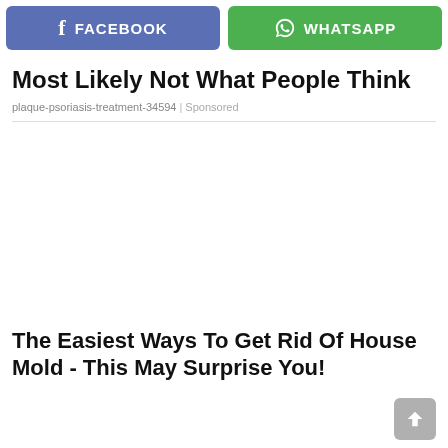[Figure (screenshot): Social share bar with Facebook (blue/purple) and WhatsApp (green) buttons]
Most Likely Not What People Think
plaque-psoriasis-treatment-34594 | Sponsored
[Figure (other): Empty white advertisement area]
The Easiest Ways To Get Rid Of House Mold - This May Surprise You!